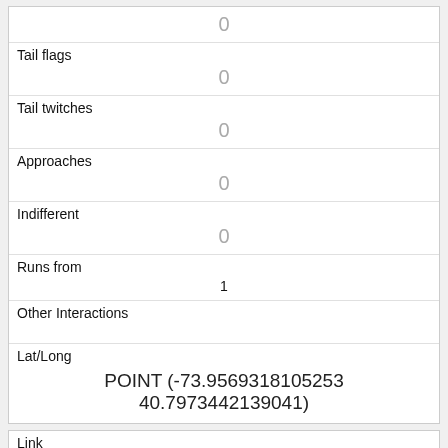|  | 0 |
| Tail flags | 0 |
| Tail twitches | 0 |
| Approaches | 0 |
| Indifferent | 0 |
| Runs from | 1 |
| Other Interactions |  |
| Lat/Long | POINT (-73.9569318105253 40.7973442139041) |
| Link | 188 |
| rowid | 188 |
| longitude |  |